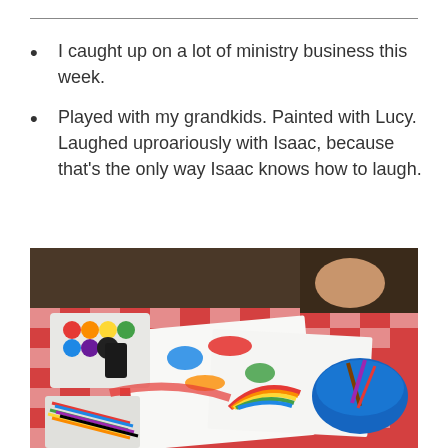I caught up on a lot of ministry business this week.
Played with my grandkids. Painted with Lucy. Laughed uproariously with Isaac, because that’s the only way Isaac knows how to laugh.
[Figure (photo): A child painting at a table covered with a red and white checkered tablecloth. There are colorful paint bottles on a white tray, colored pencils/markers on another tray, a blue bowl with brushes, and paintings on white paper spread across the table.]